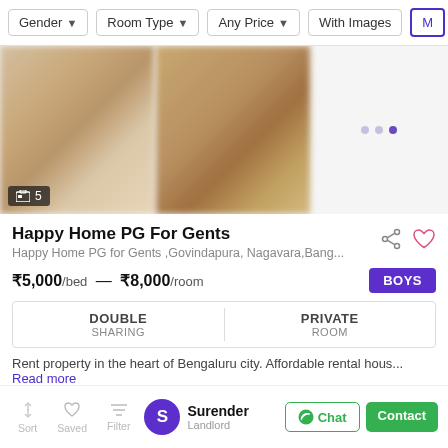Gender  Room Type  Any Price  With Images  M...
[Figure (photo): Two blurred interior room photos side by side on the left, a light gray panel on the right with navigation dots, and a badge showing '5 images' at bottom left]
Happy Home PG For Gents
Happy Home PG for Gents ,Govindapura, Nagavara,Bang...
₹5,000/bed — ₹8,000/room  BOYS
| DOUBLE SHARING | PRIVATE ROOM |
| --- | --- |
Rent property in the heart of Bengaluru city. Affordable rental hous... Read more
1.0 km from HBR Layout
Surender
Landlord